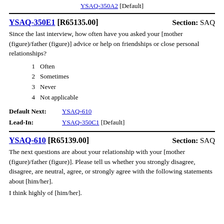YSAQ-350A2 [Default]
YSAQ-350E1 [R65135.00]   Section: SAQ
Since the last interview, how often have you asked your [mother (figure)/father (figure)] advice or help on friendships or close personal relationships?
1   Often
2   Sometimes
3   Never
4   Not applicable
Default Next: YSAQ-610
Lead-In: YSAQ-350C1 [Default]
YSAQ-610 [R65139.00]   Section: SAQ
The next questions are about your relationship with your [mother (figure)/father (figure)]. Please tell us whether you strongly disagree, disagree, are neutral, agree, or strongly agree with the following statements about [him/her].
I think highly of [him/her].